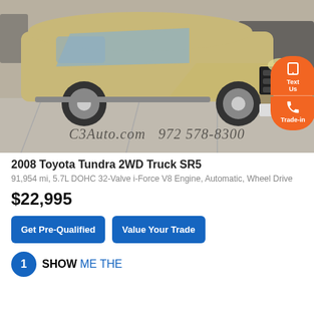[Figure (photo): Exterior photo of a gold/tan 2008 Toyota Tundra 2WD Truck SR5 pickup truck parked in a dealership lot. Watermark text reads 'C3Auto.com   972 578-8300'. Orange floating call/text buttons visible on right side.]
2008 Toyota Tundra 2WD Truck SR5
91,954 mi, 5.7L DOHC 32-Valve i-Force V8 Engine, Automatic, Wheel Drive
$22,995
Get Pre-Qualified
Value Your Trade
SHOW ME THE